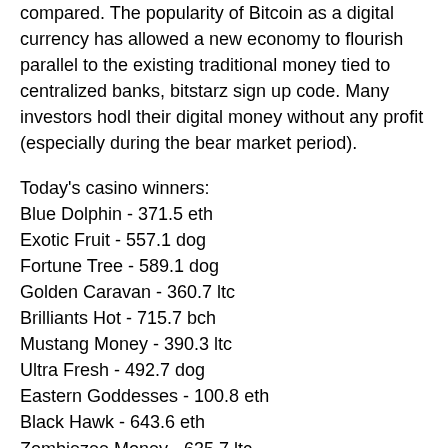compared. The popularity of Bitcoin as a digital currency has allowed a new economy to flourish parallel to the existing traditional money tied to centralized banks, bitstarz sign up code. Many investors hodl their digital money without any profit (especially during the bear market period).
Today's casino winners:
Blue Dolphin - 371.5 eth
Exotic Fruit - 557.1 dog
Fortune Tree - 589.1 dog
Golden Caravan - 360.7 ltc
Brilliants Hot - 715.7 bch
Mustang Money - 390.3 ltc
Ultra Fresh - 492.7 dog
Eastern Goddesses - 100.8 eth
Black Hawk - 643.6 eth
Zombiezee Money - 635.7 ltc
Kobushi - 289 eth
Dr. Jekyll & Mr. Hyde - 129.5 ltc
Forest Ant - 340.3 usdt